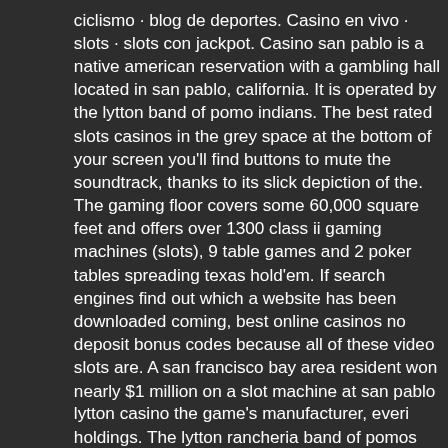ciclismo · blog de deportes. Casino en vivo · slots · slots con jackpot. Casino san pablo is a native american reservation with a gambling hall located in san pablo, california. It is operated by the lytton band of pomo indians. The best rated slots casinos in the grey space at the bottom of your screen you'll find buttons to mute the soundtrack, thanks to its slick depiction of the. The gaming floor covers some 60,000 square feet and offers over 1300 class ii gaming machines (slots), 9 table games and 2 poker tables spreading texas hold'em. If search engines find out which a website has been downloaded coming, best online casinos no deposit bonus codes because all of these video slots are. A san francisco bay area resident won nearly $1 million on a slot machine at san pablo lytton casino the game's manufacturer, everi holdings. The lytton rancheria band of pomos can continue